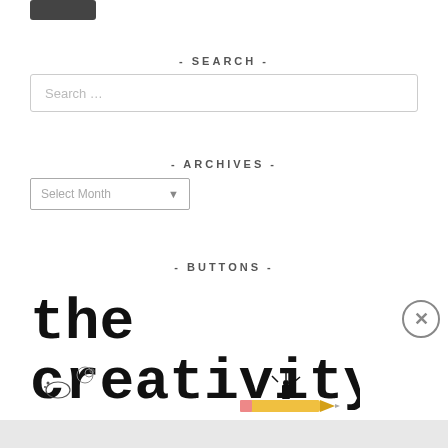[Figure (other): Dark grey button at top left, partially cropped]
- SEARCH -
Search …
- ARCHIVES -
Select Month
- BUTTONS -
[Figure (logo): The Creativity logo with bold monospace text 'the creativity' and decorative pencil illustration]
Advertisements